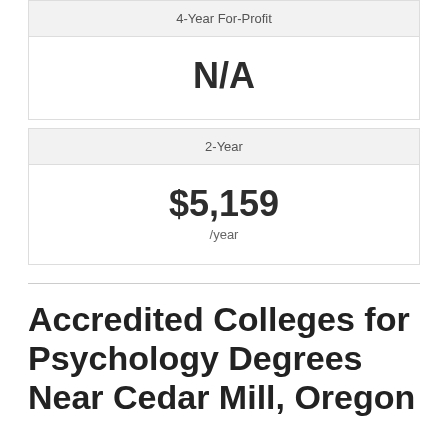| 4-Year For-Profit |
| --- |
| N/A |
| 2-Year |
| --- |
| $5,159 | /year |
Accredited Colleges for Psychology Degrees Near Cedar Mill, Oregon